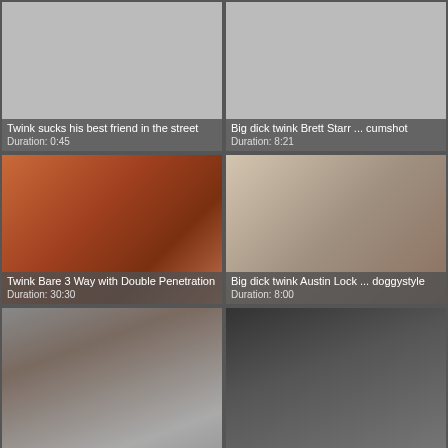[Figure (screenshot): Video thumbnail placeholder gray]
Twink sucks his best friend in the street
Duration: 0:45
[Figure (screenshot): Video thumbnail placeholder gray (right column top)]
Big dick twink Brett Starr ... cumshot
Duration: 8:21
[Figure (photo): Video still showing adult content]
Twink Bare 3 Way with Double Penetration
Duration: 30:30
[Figure (photo): Video still showing person in room]
Big dick twink Austin Lock ... doggystyle
Duration: 8:00
[Figure (photo): Video still bottom left]
[Figure (photo): Video still bottom right]